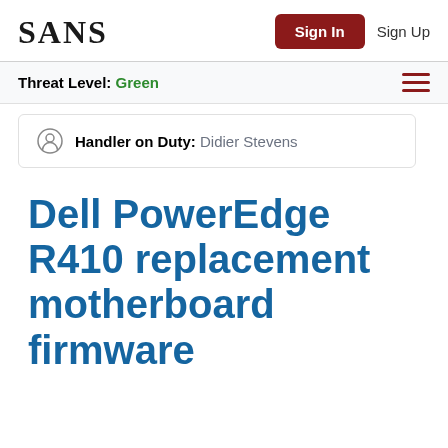SANS | Sign In | Sign Up
Threat Level: Green
Handler on Duty: Didier Stevens
Dell PowerEdge R410 replacement motherboard firmware